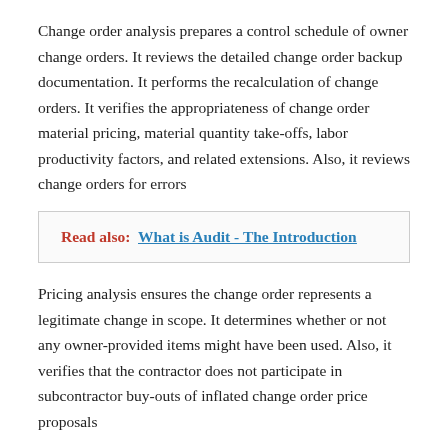Change order analysis prepares a control schedule of owner change orders. It reviews the detailed change order backup documentation. It performs the recalculation of change orders. It verifies the appropriateness of change order material pricing, material quantity take-offs, labor productivity factors, and related extensions. Also, it reviews change orders for errors
Read also:  What is Audit - The Introduction
Pricing analysis ensures the change order represents a legitimate change in scope. It determines whether or not any owner-provided items might have been used. Also, it verifies that the contractor does not participate in subcontractor buy-outs of inflated change order price proposals
6. Subcontract analysis